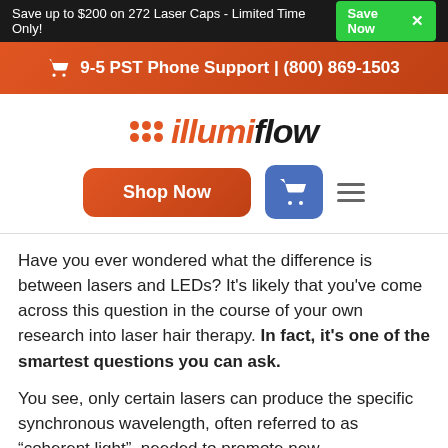Save up to $200 on 272 Laser Caps - Limited Time Only! Save Now X
9-5 PST Phone Support | (800) 869-1503
[Figure (logo): illumiflow logo with orange dot grid and wordmark]
[Figure (infographic): Navigation row with Shop Now button, cart button, and hamburger menu]
Have you ever wondered what the difference is between lasers and LEDs? It's likely that you've come across this question in the course of your own research into laser hair therapy. In fact, it's one of the smartest questions you can ask.
You see, only certain lasers can produce the specific synchronous wavelength, often referred to as “coherent light”, needed to promote new